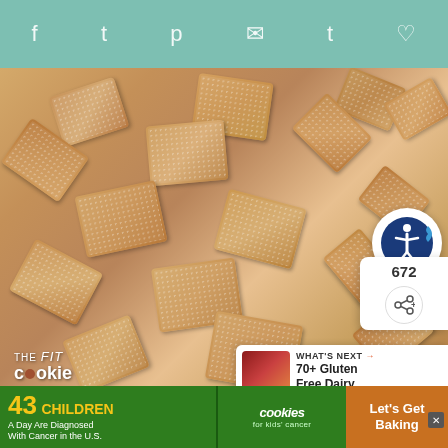Social share toolbar with icons: Facebook, Twitter, Pinterest, Email, Tumblr, Save
[Figure (photo): Overhead photo of many sesame-coated square crackers scattered on a light surface, from The Fit Cookie blog]
THE fit cookie
672
WHAT'S NEXT → 70+ Gluten Free Dairy...
ADVERTISEMENT
43 CHILDREN A Day Are Diagnosed With Cancer in the U.S. cookies for kids' cancer Let's Get Baking